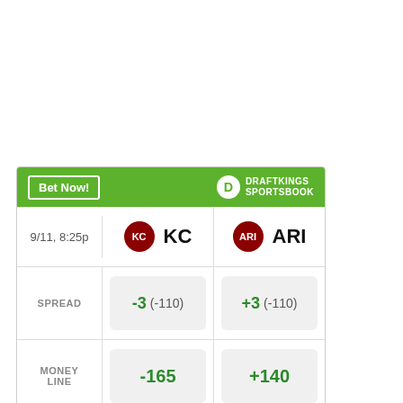|  | KC | ARI |
| --- | --- | --- |
| 9/11, 8:25p | KC | ARI |
| SPREAD | -3 (-110) | +3 (-110) |
| MONEY LINE | -165 | +140 |
| OVER UNDER | > 53 (-110) | < 53 (-110) |